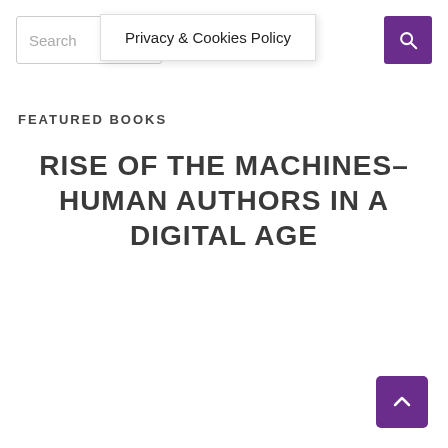Search | Privacy & Cookies Policy
FEATURED BOOKS
RISE OF THE MACHINES–HUMAN AUTHORS IN A DIGITAL AGE